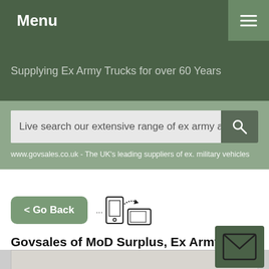Menu
Supplying Ex Army Trucks for over 60 Years
Live search our extensive range of ex army and M
www.govsales.co.uk - The UK's leading suppliers of ex. military vehicles
< Go Back
Govsales of MoD Surplus, Ex Army Military Vehicles
Your chosen selection of - MoD Surplus vehicles and equipment for sale
[Figure (screenshot): Bottom portion of a vehicle image, partially visible]